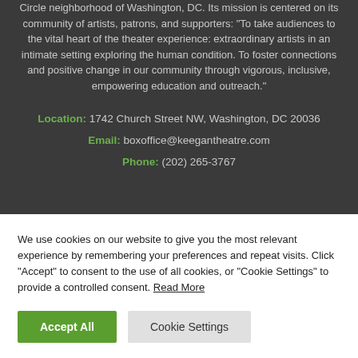Circle neighborhood of Washington, DC. Its mission is centered on its community of artists, patrons, and supporters: "To take audiences to the vital heart of the theater experience: extraordinary artists in an intimate setting exploring the human condition. To foster connections and positive change in our community through vigorous, inclusive, empowering education and outreach."
Location: 1742 Church Street NW, Washington, DC 20036
Email: boxoffice@keegantheatre.com
Phone: (202) 265-3767
We use cookies on our website to give you the most relevant experience by remembering your preferences and repeat visits. Click "Accept" to consent to the use of all cookies, or "Cookie Settings" to provide a controlled consent. Read More